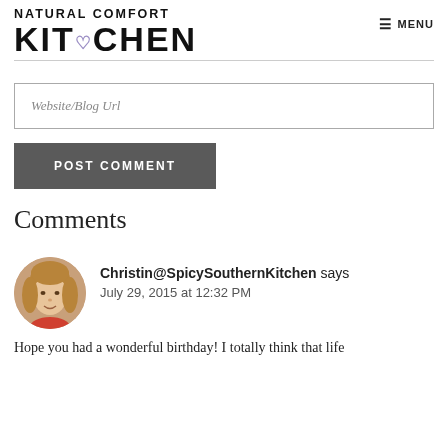[Figure (logo): Natural Comfort Kitchen logo with stylized text and small purple heart]
[Figure (screenshot): Website/Blog Url text input field]
[Figure (screenshot): POST COMMENT dark grey button]
Comments
[Figure (photo): Circular avatar photo of Christin@SpicySouthernKitchen, a woman with blonde hair]
Christin@SpicySouthernKitchen says
July 29, 2015 at 12:32 PM
Hope you had a wonderful birthday! I totally think that life